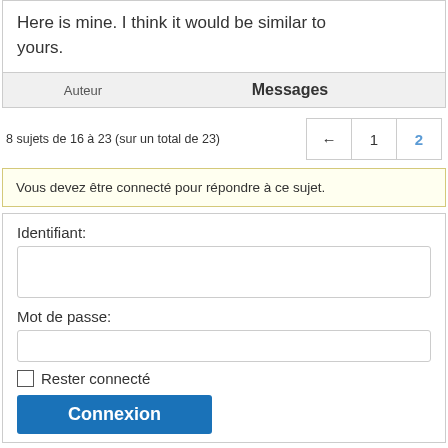Here is mine. I think it would be similar to yours.
| Auteur | Messages |
| --- | --- |
8 sujets de 16 à 23 (sur un total de 23)
← 1 2
Vous devez être connecté pour répondre à ce sujet.
Identifiant:
Mot de passe:
Rester connecté
Connexion